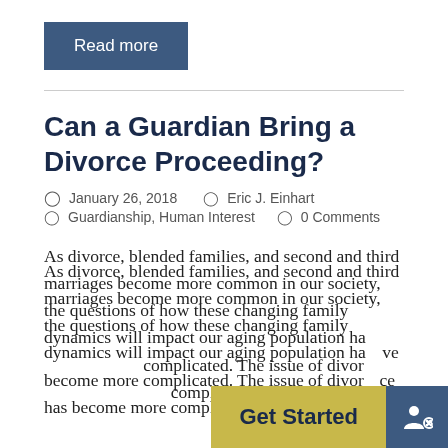Read more
Can a Guardian Bring a Divorce Proceeding?
January 26, 2018   Eric J. Einhart
Guardianship, Human Interest   0 Comments
As divorce, blended families, and second and third marriages become more common in our society, the questions of how these changing family dynamics will impact our aging population have become more complicated. The issue of divorce has become more complicated when...
Get Started